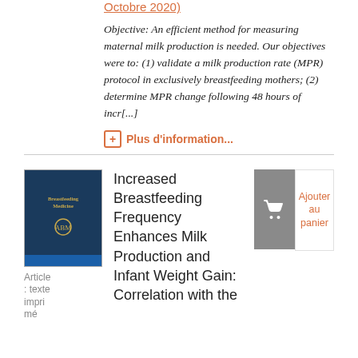Octobre 2020)
Objective: An efficient method for measuring maternal milk production is needed. Our objectives were to: (1) validate a milk production rate (MPR) protocol in exclusively breastfeeding mothers; (2) determine MPR change following 48 hours of incr[...]
Plus d'information...
[Figure (illustration): Book cover of Breastfeeding Medicine journal, dark blue with gold lettering]
Article : texte imprimé
Increased Breastfeeding Frequency Enhances Milk Production and Infant Weight Gain: Correlation with the